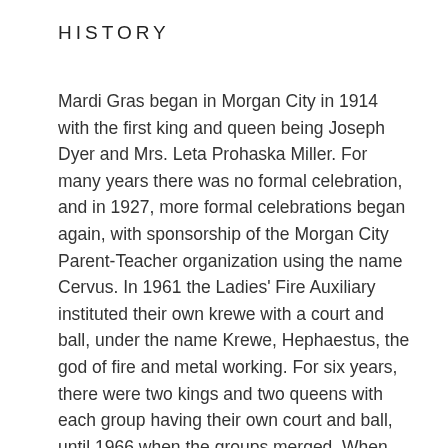HISTORY
Mardi Gras began in Morgan City in 1914 with the first king and queen being Joseph Dyer and Mrs. Leta Prohaska Miller. For many years there was no formal celebration, and in 1927, more formal celebrations began again, with sponsorship of the Morgan City Parent-Teacher organization using the name Cervus. In 1961 the Ladies' Fire Auxiliary instituted their own krewe with a court and ball, under the name Krewe, Hephaestus, the god of fire and metal working. For six years, there were two kings and two queens with each group having their own court and ball, until 1966 when the groups merged. When they asked Lee Vaccari to serve as king in 1969, he decided that the Krewe of Hephaestus should be a formal organization with a membership and a kings' club and queens' club. He reinstituted Mardi Gras parades and included all former kings and queens as part of the history and